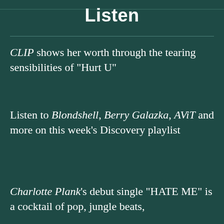Listen
CLIP shows her worth through the tearing sensibilities of "Hurt U"
Listen to Blondshell, Berry Galazka, AViT and more on this week's Discovery playlist
Charlotte Plank's debut single "HATE ME" is a cocktail of pop, jungle beats,